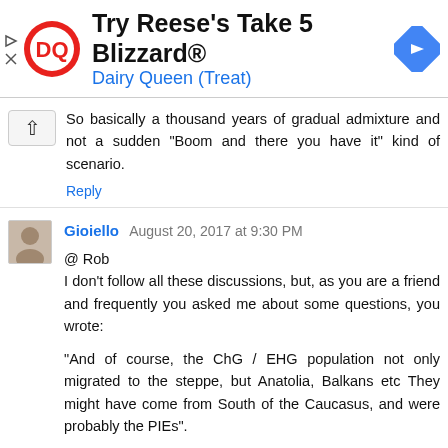[Figure (infographic): Dairy Queen advertisement banner with DQ logo on left, text 'Try Reese's Take 5 Blizzard®' and 'Dairy Queen (Treat)' in center, blue navigation arrow icon on right, and play/close icons on far left]
So basically a thousand years of gradual admixture and not a sudden "Boom and there you have it" kind of scenario.
Reply
Gioiello  August 20, 2017 at 9:30 PM
@ Rob
I don't follow all these discussions, but, as you are a friend and frequently you asked me about some questions, you wrote:
"And of course, the ChG / EHG population not only migrated to the steppe, but Anatolia, Balkans etc They might have come from South of the Caucasus, and were probably the PIEs".